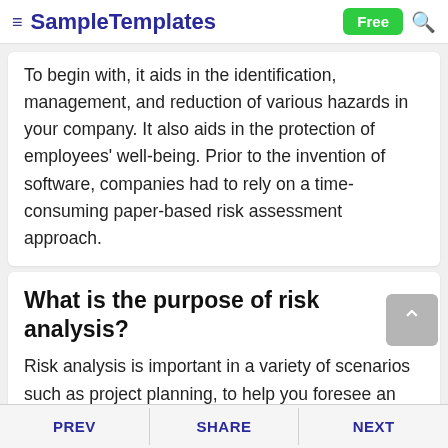SampleTemplates | Free
To begin with, it aids in the identification, management, and reduction of various hazards in your company. It also aids in the protection of employees' well-being. Prior to the invention of software, companies had to rely on a time-consuming paper-based risk assessment approach.
What is the purpose of risk analysis?
Risk analysis is important in a variety of scenarios such as project planning, to help you foresee and eliminate potential difficulties. When determining whether or not to pursue a project further. When it
PREV | SHARE | NEXT